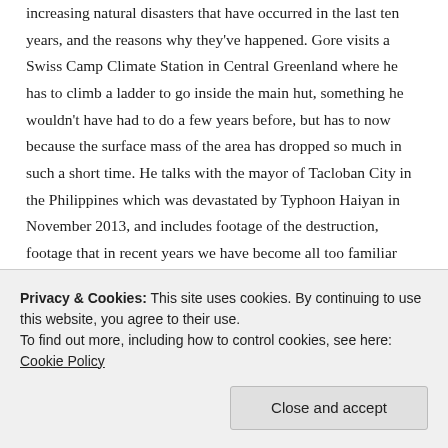increasing natural disasters that have occurred in the last ten years, and the reasons why they've happened. Gore visits a Swiss Camp Climate Station in Central Greenland where he has to climb a ladder to go inside the main hut, something he wouldn't have had to do a few years before, but has to now because the surface mass of the area has dropped so much in such a short time. He talks with the mayor of Tacloban City in the Philippines which was devastated by Typhoon Haiyan in November 2013, and includes footage of the destruction, footage that in recent years we have become all too familiar with from other devastated cities around the world. But most telling of all is the footage relating to the flooding caused by
Privacy & Cookies: This site uses cookies. By continuing to use this website, you agree to their use.
To find out more, including how to control cookies, see here: Cookie Policy
right. This is the point in the movie where you have to